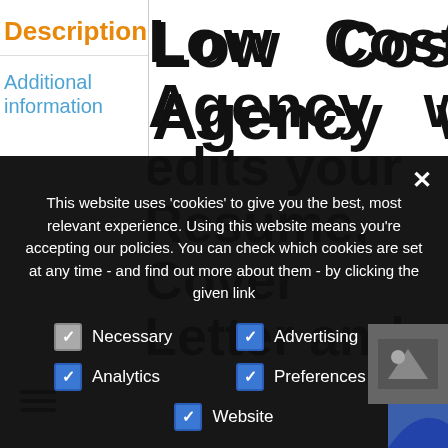Description
Additional information
Low Cost Web Agency writes or edits your Resume, Cover Letter and Biography at the best rate you can find on the marke
This website uses 'cookies' to give you the best, most relevant experience. Using this website means you're accepting our policies. You can check which cookies are set at any time - and find out more about them - by clicking the given link
Necessary
Advertising
Analytics
Preferences
Website